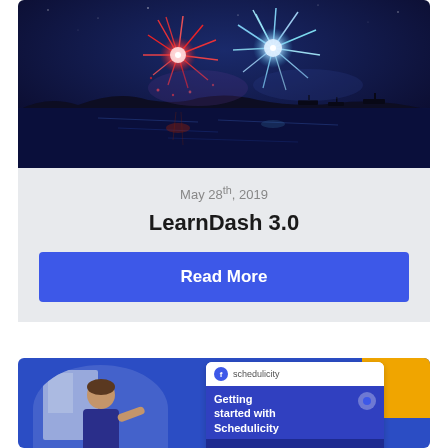[Figure (photo): Fireworks over a body of water at night with colorful red, white, and blue fireworks bursting in a dark blue sky with reflections on the water below]
May 28th, 2019
LearnDash 3.0
Read More
[Figure (screenshot): Screenshot of Schedulicity app/website interface with 'Getting started with Schedulicity' module card on a blue background, with a person visible on the left side]